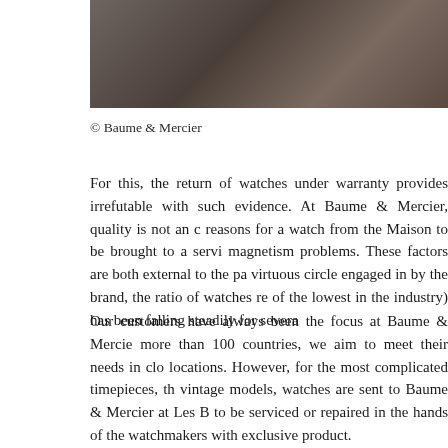[Figure (photo): Partial photograph of a person or watch, cropped at the top of the page, dark brown tones]
© Baume & Mercier
For this, the return of watches under warranty provides irrefutable with such evidence. At Baume & Mercier, quality is not an reasons for a watch from the Maison to be brought to a servi magnetism problems. These factors are both external to the p virtuous circle engaged in by the brand, the ratio of watches re of the lowest in the industry) has been falling steadily for severa
Our customers have always been the focus at Baume & Mercie more than 100 countries, we aim to meet their needs in clo locations. However, for the most complicated timepieces, th vintage models, watches are sent to Baume & Mercier at Les B to be serviced or repaired in the hands of the watchmakers with exclusive product.